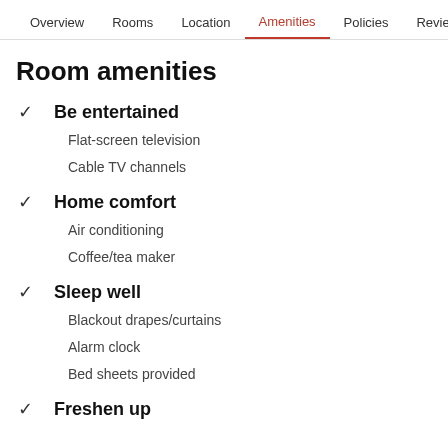Overview  Rooms  Location  Amenities  Policies  Reviews
Room amenities
Be entertained
Flat-screen television
Cable TV channels
Home comfort
Air conditioning
Coffee/tea maker
Sleep well
Blackout drapes/curtains
Alarm clock
Bed sheets provided
Freshen up